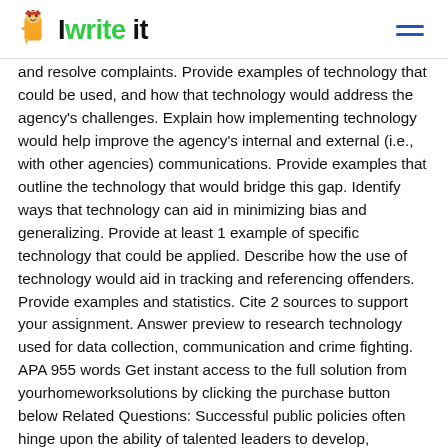IwriteIt
and resolve complaints. Provide examples of technology that could be used, and how that technology would address the agency's challenges. Explain how implementing technology would help improve the agency's internal and external (i.e., with other agencies) communications. Provide examples that outline the technology that would bridge this gap. Identify ways that technology can aid in minimizing bias and generalizing. Provide at least 1 example of specific technology that could be applied. Describe how the use of technology would aid in tracking and referencing offenders. Provide examples and statistics. Cite 2 sources to support your assignment. Answer preview to research technology used for data collection, communication and crime fighting. APA 955 words Get instant access to the full solution from yourhomeworksolutions by clicking the purchase button below Related Questions: Successful public policies often hinge upon the ability of talented leaders to develop, promote, and execute those public policies Use the Internet to research one (1) developing nation of your choice. Your research should include an examination of the effects that war Designing a 4-hour Leadership Strategies course Leadership